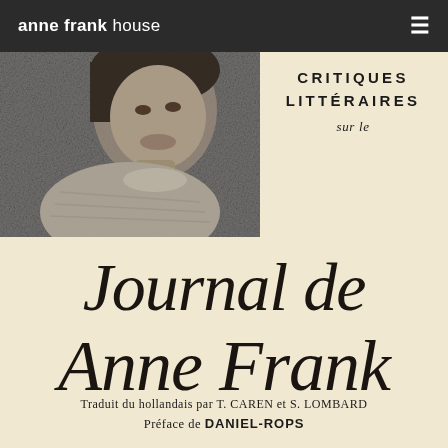anne frank house
[Figure (photo): Black and white photograph of Anne Frank, showing her smiling, visible from shoulders up, wearing a light knit top]
CRITIQUES LITTÉRAIRES sur le Journal de Anne Frank
Traduit du hollandais par T. CAREN et S. LOMBARD
Préface de DANIEL-ROPS